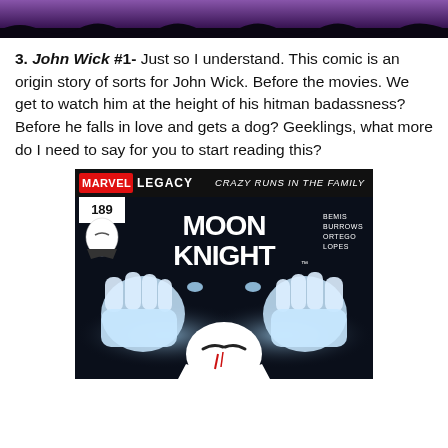[Figure (illustration): Top portion of a comic book page showing a dark purple and black stylized image, partially cropped at the top of the page.]
3. John Wick #1- Just so I understand. This comic is an origin story of sorts for John Wick. Before the movies. We get to watch him at the height of his hitman badassness? Before he falls in love and gets a dog? Geeklings, what more do I need to say for you to start reading this?
[Figure (illustration): Moon Knight #189 comic book cover from Marvel Legacy - Crazy Runs in the Family. Shows Moon Knight character in white costume with hands raised, dark background with glowing eyes. Credits: Bemis, Burrows, Ortego, Lopes.]